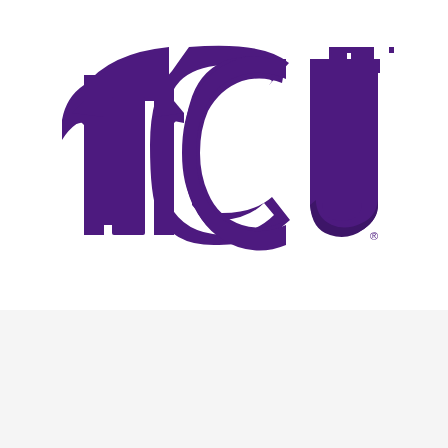[Figure (logo): TCU (Texas Christian University) logo — purple block letters T, C, U arranged in an arc on a white background with a registered trademark symbol]
PHYSICAL ADDRESS
The Harrison, Suite 1800
3101 Bellaire Dr. North
Fort Worth, TX 76109
Get Directions